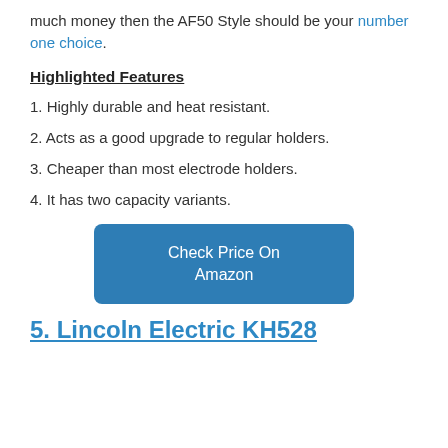much money then the AF50 Style should be your number one choice.
Highlighted Features
1. Highly durable and heat resistant.
2. Acts as a good upgrade to regular holders.
3. Cheaper than most electrode holders.
4. It has two capacity variants.
[Figure (other): Button linking to Amazon with text 'Check Price On Amazon']
5. Lincoln Electric KH528